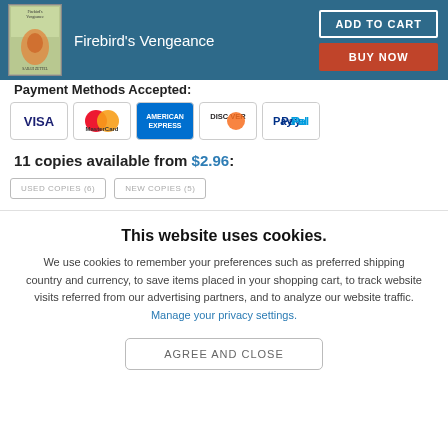[Figure (illustration): Book cover thumbnail for Firebird's Vengeance with teal header bar, title text and Add to Cart / Buy Now buttons]
Payment Methods Accepted:
[Figure (infographic): Payment method icons: VISA, MasterCard, American Express, Discover, PayPal]
11 copies available from $2.96:
USED COPIES (6)   NEW COPIES (5)
This website uses cookies.
We use cookies to remember your preferences such as preferred shipping country and currency, to save items placed in your shopping cart, to track website visits referred from our advertising partners, and to analyze our website traffic. Manage your privacy settings.
AGREE AND CLOSE